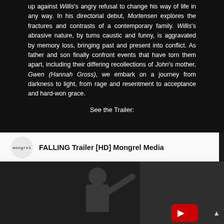up against Willis's angry refusal to change his way of life in any way. In his directorial debut, Mortensen explores the fractures and contrasts of a contemporary family. Willis's abrasive nature, by turns caustic and funny, is aggravated by memory loss, bringing past and present into conflict. As father and son finally confront events that have torn them apart, including their differing recollections of John's mother, Gwen (Hannah Gross), we embark on a journey from darkness to light, from rage and resentment to acceptance and hard-won grace.
See the Trailer:
[Figure (screenshot): YouTube video embed showing FALLING Trailer [HD] Mongrel Media. The header shows Mongrel Media logo (circular, grey background with 'mongrel' text) and the title text. Below is a dark thumbnail still from the film showing a man in a jacket with his arm raised. A red YouTube play button is visible in the lower right of the thumbnail.]